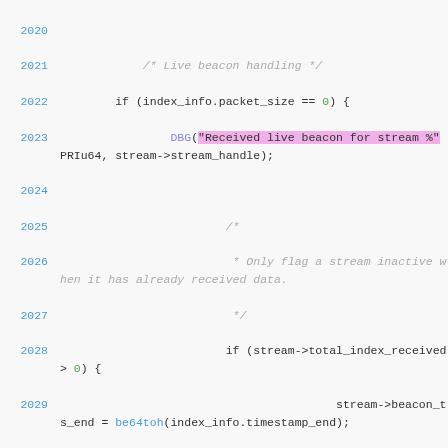[Figure (screenshot): Source code listing showing C code lines 2020-2039 with syntax highlighting. Line numbers in blue, keywords in dark, strings highlighted in pink/purple, numeric literals in green, function calls in blue/purple, comments in gray italic.]